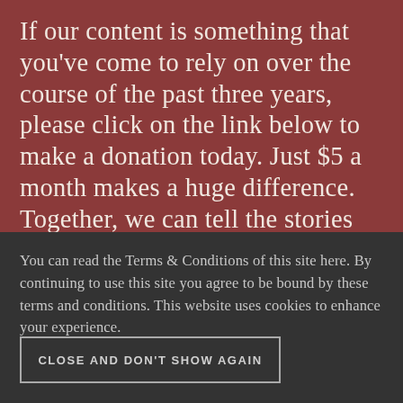If our content is something that you've come to rely on over the course of the past three years, please click on the link below to make a donation today. Just $5 a month makes a huge difference. Together, we can tell the stories that need to be
You can read the Terms & Conditions of this site here. By continuing to use this site you agree to be bound by these terms and conditions. This website uses cookies to enhance your experience.
CLOSE AND DON'T SHOW AGAIN